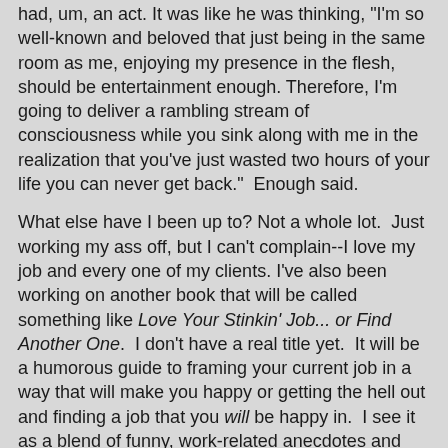had, um, an act. It was like he was thinking, "I'm so well-known and beloved that just being in the same room as me, enjoying my presence in the flesh, should be entertainment enough. Therefore, I'm going to deliver a rambling stream of consciousness while you sink along with me in the realization that you've just wasted two hours of your life you can never get back."  Enough said.
What else have I been up to? Not a whole lot.  Just working my ass off, but I can't complain--I love my job and every one of my clients. I've also been working on another book that will be called something like Love Your Stinkin' Job... or Find Another One.  I don't have a real title yet.  It will be a humorous guide to framing your current job in a way that will make you happy or getting the hell out and finding a job that you will be happy in.  I see it as a blend of funny, work-related anecdotes and other crap from my brain as well as practical advice on topics related to the workplace and conducting a job search.  It's gonna be cool.
Also, I've been putting together a "leading with laughter" type of workshop and another one that uses humor as a way to build teams--"bonding with laughter" in a close-to-the-...